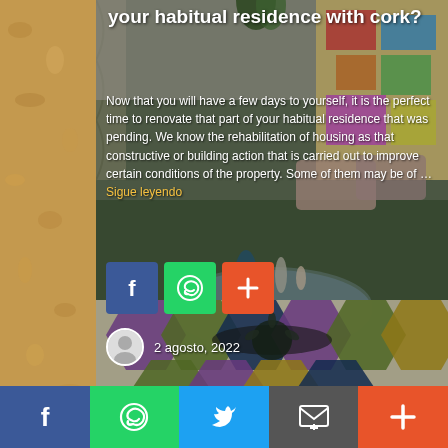[Figure (photo): Interior room photo showing colorful geometric rug, glass coffee table, and artwork — used as article background image with cork texture border]
your habitual residence with cork?
Now that you will have a few days to yourself, it is the perfect time to renovate that part of your habitual residence that was pending. We know the rehabilitation of housing as that constructive or building action that is carried out to improve certain conditions of the property. Some of them may be of … Sigue leyendo
[Figure (infographic): Share buttons row inside article: Facebook (blue), WhatsApp (green), More/plus (orange-red)]
2 agosto, 2022
[Figure (infographic): Bottom social sharing bar with 5 buttons: Facebook (dark blue), WhatsApp (green), Twitter (light blue), Email (grey), More/plus (orange-red)]